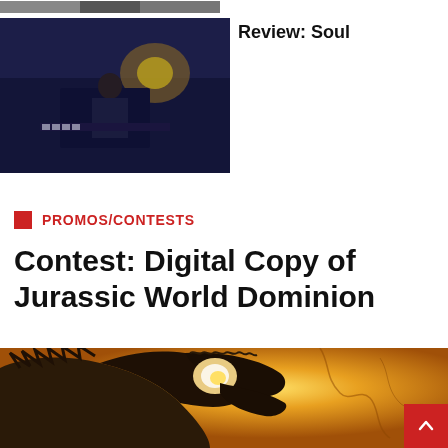[Figure (photo): Partial top strip of an image, cropped at top of page]
[Figure (photo): Movie still from Soul - figure playing piano in dark scene]
Review: Soul
PROMOS/CONTESTS
Contest: Digital Copy of Jurassic World Dominion
[Figure (photo): Jurassic World Dominion movie promotional image - dinosaur silhouette against glowing orange/yellow background]